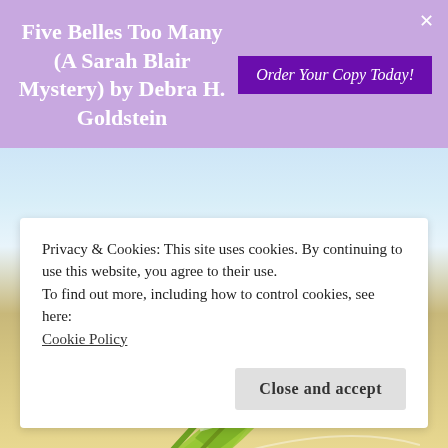Five Belles Too Many (A Sarah Blair Mystery) by Debra H. Goldstein
[Figure (screenshot): Purple ad banner with book title and Order Your Copy Today button, share buttons (Tumblr, Print, Email), Like this section with Loading... text, beach/tropical background with palm leaves, and cookie consent overlay]
Privacy & Cookies: This site uses cookies. By continuing to use this website, you agree to their use.
To find out more, including how to control cookies, see here:
Cookie Policy
Close and accept